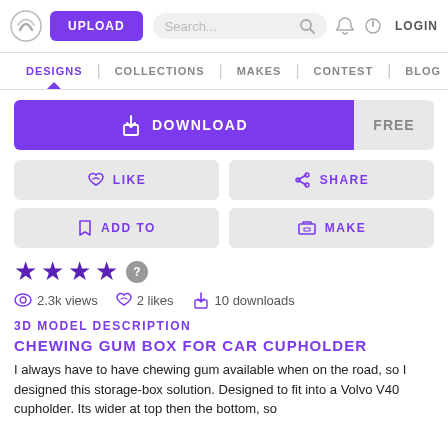UPLOAD | Search... | LOGIN | DESIGNS | COLLECTIONS | MAKES | CONTEST | BLOG
[Figure (screenshot): Download button (purple) with FREE label, LIKE, SHARE, ADD TO, MAKE action buttons]
[Figure (other): 4 purple star rating with question mark badge]
2.3k views  2 likes  10 downloads
3D MODEL DESCRIPTION
CHEWING GUM BOX FOR CAR CUPHOLDER
I always have to have chewing gum available when on the road, so I designed this storage-box solution. Designed to fit into a Volvo V40 cupholder. Its wider at top then the bottom, so